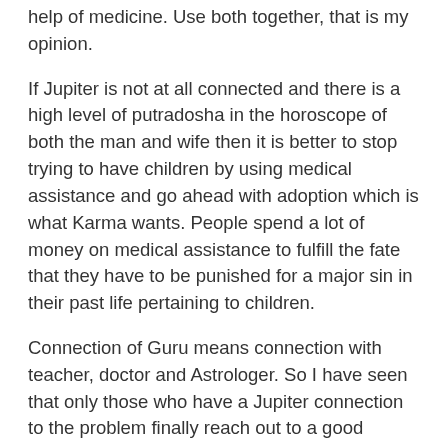help of medicine. Use both together, that is my opinion.
If Jupiter is not at all connected and there is a high level of putradosha in the horoscope of both the man and wife then it is better to stop trying to have children by using medical assistance and go ahead with adoption which is what Karma wants. People spend a lot of money on medical assistance to fulfill the fate that they have to be punished for a major sin in their past life pertaining to children.
Connection of Guru means connection with teacher, doctor and Astrologer. So I have seen that only those who have a Jupiter connection to the problem finally reach out to a good astrologer who will tell the couple what to do. Otherwise they do not get the chance at all.